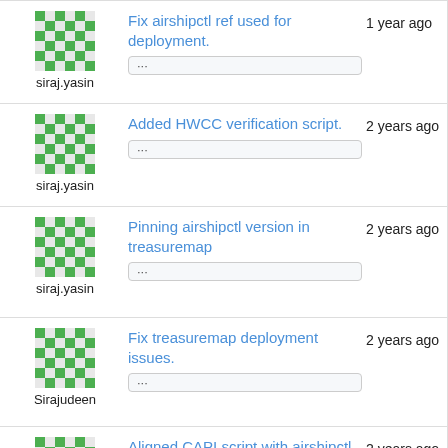siraj.yasin — Fix airshipctl ref used for deployment. — 1 year ago
siraj.yasin — Added HWCC verification script. — 2 years ago
siraj.yasin — Pinning airshipctl version in treasuremap — 2 years ago
Sirajudeen — Fix treasuremap deployment issues. — 2 years ago
Sirajudeen — Aligned CAPI script with airshipctl — 2 years ago
Matt McEuen — Align treasuremap to image-builder — 2 years ago